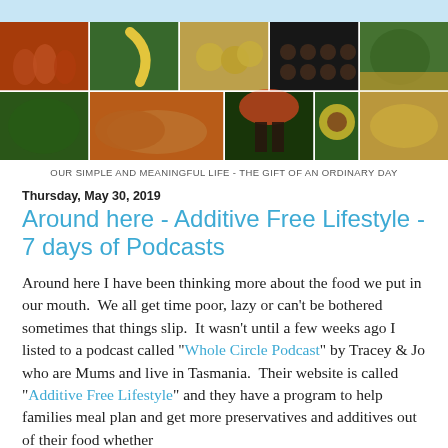[Figure (photo): Grid of food and nature photos: jars of tomatoes, banana, biscuits, baked goods, green plants, bread loaves, orange tomatoes on plant, sunflower, bread roll]
OUR SIMPLE AND MEANINGFUL LIFE - THE GIFT OF AN ORDINARY DAY
Thursday, May 30, 2019
Around here - Additive Free Lifestyle - 7 days of Podcasts
Around here I have been thinking more about the food we put in our mouth.  We all get time poor, lazy or can't be bothered sometimes that things slip.  It wasn't until a few weeks ago I listed to a podcast called "Whole Circle Podcast" by Tracey & Jo who are Mums and live in Tasmania.  Their website is called "Additive Free Lifestyle" and they have a program to help families meal plan and get more preservatives and additives out of their food whether